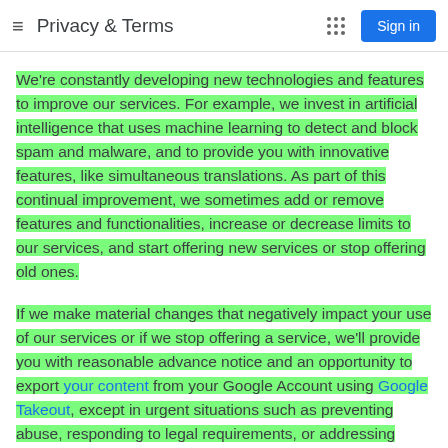Privacy & Terms
We're constantly developing new technologies and features to improve our services. For example, we invest in artificial intelligence that uses machine learning to detect and block spam and malware, and to provide you with innovative features, like simultaneous translations. As part of this continual improvement, we sometimes add or remove features and functionalities, increase or decrease limits to our services, and start offering new services or stop offering old ones.
If we make material changes that negatively impact your use of our services or if we stop offering a service, we'll provide you with reasonable advance notice and an opportunity to export your content from your Google Account using Google Takeout, except in urgent situations such as preventing abuse, responding to legal requirements, or addressing security and operability issues.